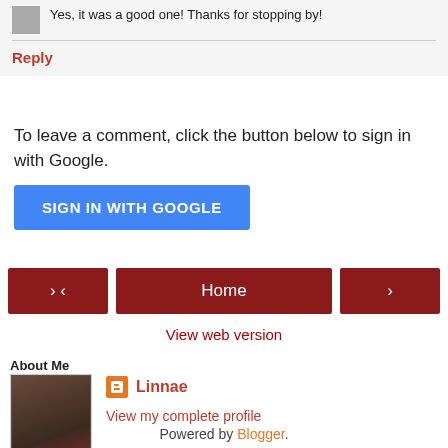Yes, it was a good one! Thanks for stopping by!
Reply
To leave a comment, click the button below to sign in with Google.
SIGN IN WITH GOOGLE
‹
Home
›
View web version
About Me
[Figure (photo): Profile photo of Linnae]
Linnae
View my complete profile
Powered by Blogger.